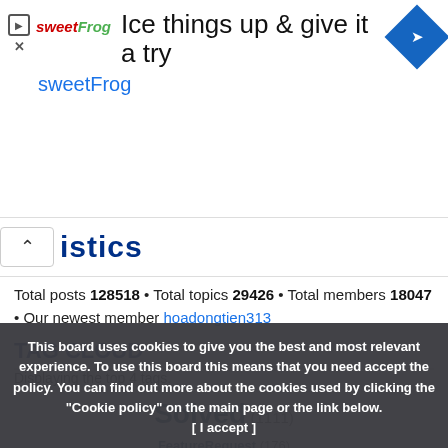[Figure (screenshot): sweetFrog advertisement banner with logo, headline 'Ice things up & give it a try', brand name 'sweetFrog', and navigation arrow icon]
istics (partially visible section header)
Total posts 128518 • Total topics 29426 • Total members 18047 • Our newest member hoadongtien313
TAG CLOUD
Displaying the top 4 tags.
Solved (1111)
FeatureRequest (176)
Translation (12)
homepage (4)
This board uses cookies to give you the best and most relevant experience. To use this board this means that you need accept the policy. You can find out more about the cookies used by clicking the "Cookie policy" on the main page or the link below. [ I accept ]